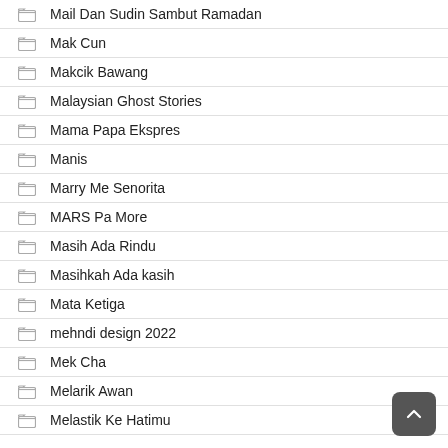Mail Dan Sudin Sambut Ramadan
Mak Cun
Makcik Bawang
Malaysian Ghost Stories
Mama Papa Ekspres
Manis
Marry Me Senorita
MARS Pa More
Masih Ada Rindu
Masihkah Ada kasih
Mata Ketiga
mehndi design 2022
Mek Cha
Melarik Awan
Melastik Ke Hatimu